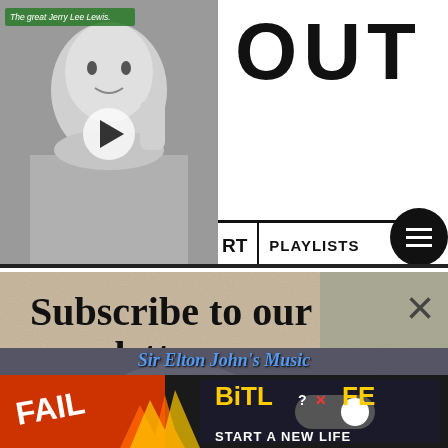[Figure (screenshot): Black and white photo of Jerry Lee Lewis with a play button overlay]
OUT
RT   PLAYLISTS
[Figure (screenshot): Newsletter subscription popup with beige/tan background]
Subscribe to our newsletter
Your e-mail address   SIGN UP
beginner's guide to John Ford's directorial genius
[Figure (screenshot): BitLife advertisement - FAIL, START A NEW LIFE]